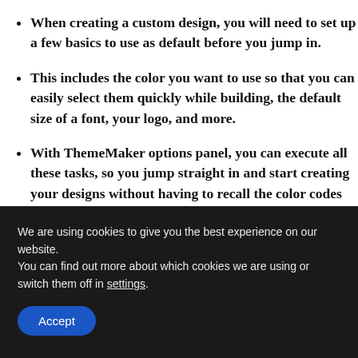When creating a custom design, you will need to set up a few basics to use as default before you jump in.
This includes the color you want to use so that you can easily select them quickly while building, the default size of a font, your logo, and more.
With ThemeMaker options panel, you can execute all these tasks, so you jump straight in and start creating your designs without having to recall the color codes or font size you used.
We are using cookies to give you the best experience on our website.
You can find out more about which cookies we are using or switch them off in settings.
Accept